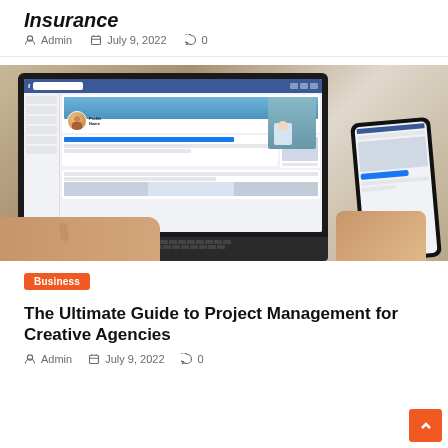Insurance
Admin  July 9, 2022  0
[Figure (photo): Person using a laptop showing a Facebook profile page while holding a smartphone in the other hand, on a wooden desk.]
Business
The Ultimate Guide to Project Management for Creative Agencies
Admin  July 9, 2022  0